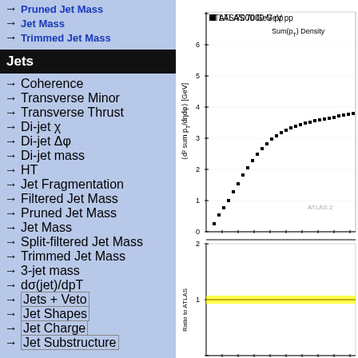→ Pruned Jet Mass
→ Jet Mass
→ Trimmed Jet Mass
Jets
→ Coherence
→ Transverse Minor
→ Transverse Thrust
→ Di-jet χ
→ Di-jet Δφ
→ Di-jet mass
→ HT
→ Jet Fragmentation
→ Filtered Jet Mass
→ Pruned Jet Mass
→ Jet Mass
→ Split-filtered Jet Mass
→ Trimmed Jet Mass
→ 3-jet mass
→ dσ(jet)/dpT
→ Jets + Veto
→ Jet Shapes
→ Jet Charge
→ Jet Substructure
[Figure (continuous-plot): ATLAS 7000 GeV pp scatter plot showing Sum(pT) Density vs eta-phi. Y-axis: <d^2 sum p_T / dndφ> [GeV], ranging 0 to ~7. Data points form a rising curve from ~0.3 at low values to ~2.3. Below the main plot is a ratio panel labeled 'Ratio to ATLAS' with a yellow band at ratio=1.]